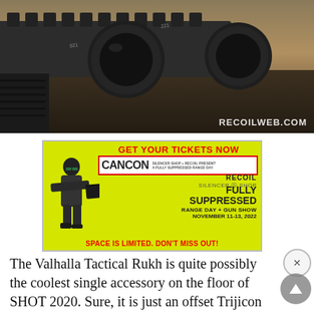[Figure (photo): Close-up photo of firearm scope rail mount, dark metallic equipment on muted background. RECOILWEB.COM watermark at bottom right.]
[Figure (infographic): Advertisement for CANCON event on yellow-green background. Text: GET YOUR TICKETS NOW / CANCON / SILENCER SHOP + RECOIL PRESENT / A FULLY SUPPRESSED RANGE DAY / RECOIL / SILENCER SHOP / FULLY SUPPRESSED / RANGE DAY + GUN SHOW / NOVEMBER 11-13, 2022 / SPACE IS LIMITED. DON'T MISS OUT!]
The Valhalla Tactical Rukh is quite possibly the coolest single accessory on the floor of SHOT 2020. Sure, it is just an offset Trijicon RMR mount